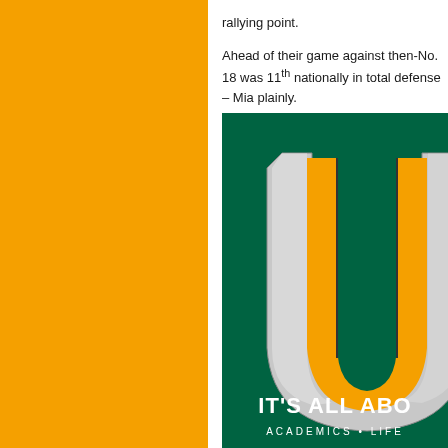rallying point.

Ahead of their game against then-No. 18 was 11th nationally in total defense – Mia plainly.

IT'S ALL ABO
ACADEMICS • LIFE
[Figure (illustration): University of Miami Hurricanes logo - a stylized orange 'U' with white/grey 3D effect on a dark green background. Text at bottom reads 'IT'S ALL ABO' and 'ACADEMICS • LIFE' (partially cropped).]